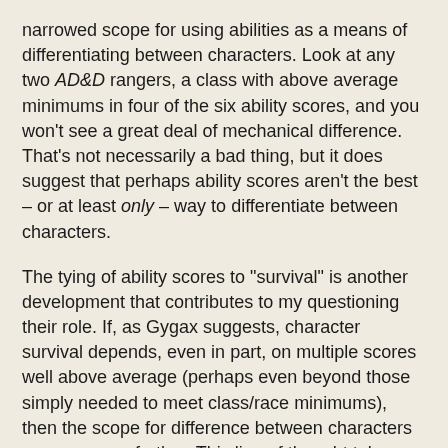narrowed scope for using abilities as a means of differentiating between characters. Look at any two AD&D rangers, a class with above average minimums in four of the six ability scores, and you won't see a great deal of mechanical difference. That's not necessarily a bad thing, but it does suggest that perhaps ability scores aren't the best – or at least only – way to differentiate between characters.
The tying of ability scores to "survival" is another development that contributes to my questioning their role. If, as Gygax suggests, character survival depends, even in part, on multiple scores well above average (perhaps even beyond those simply needed to meet class/race minimums), then the scope for difference between characters narrows even further. This line of thought takes me to the brink of wondering: do we even need ability scores at all? Would it not be simpler – and more honest – to get rid of ability scores completely, folding their benefits into class abilities, so that, for instance, all fighters gain a damage bonus as they increase in level?
Alternately, one might prefer to eliminate ability score